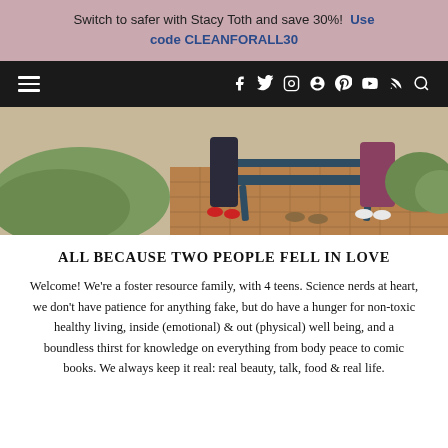Switch to safer with Stacy Toth and save 30%! Use code CLEANFORALL30
[Figure (photo): Navigation bar with hamburger menu icon, social media icons (Facebook, Twitter, Instagram, Pinterest, YouTube, RSS), and search icon on black background, above a photo of people near a bench outdoors on a brick patio with greenery]
ALL BECAUSE TWO PEOPLE FELL IN LOVE
Welcome! We're a foster resource family, with 4 teens. Science nerds at heart, we don't have patience for anything fake, but do have a hunger for non-toxic healthy living, inside (emotional) & out (physical) well being, and a boundless thirst for knowledge on everything from body peace to comic books. We always keep it real: real beauty, talk, food & real life.